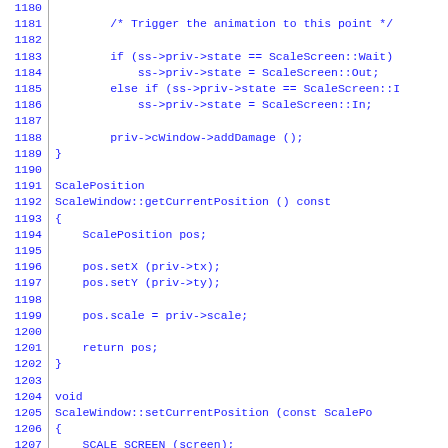[Figure (screenshot): Source code listing in monospace blue font showing C++ code lines 1180-1209 with line numbers on the left separated by a vertical bar. Code includes animation trigger logic, ScaleWindow::getCurrentPosition() function, and beginning of ScaleWindow::setCurrentPosition() function.]